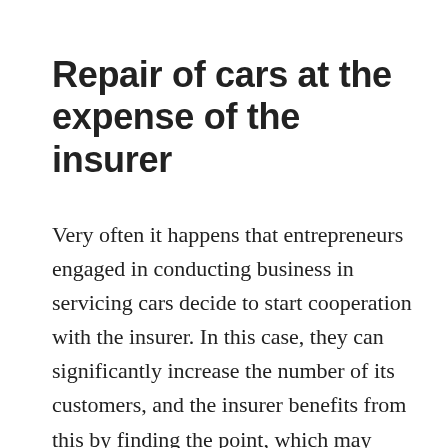Repair of cars at the expense of the insurer
Very often it happens that entrepreneurs engaged in conducting business in servicing cars decide to start cooperation with the insurer. In this case, they can significantly increase the number of its customers, and the insurer benefits from this by finding the point, which may redirect injured drivers. You have to admit, however, that such work may require, however, significant effort